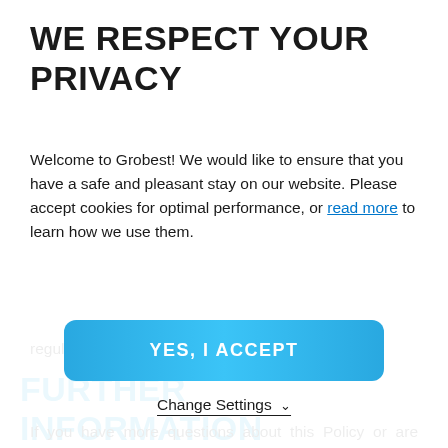WE RESPECT YOUR PRIVACY
Welcome to Grobest! We would like to ensure that you have a safe and pleasant stay on our website. Please accept cookies for optimal performance, or read more to learn how we use them.
[Figure (other): Blue gradient button with text YES, I ACCEPT]
Change Settings ∨
regularly.
FURTHER INFORMATION
If you have more questions about this Policy or are interested in how we use and protect your personal data